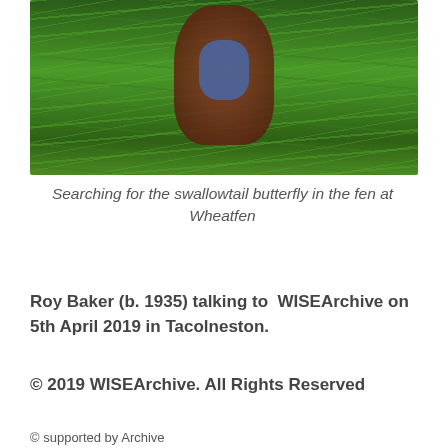[Figure (photo): A person in a brown/red jacket and blue shirt standing among tall green fen grasses, searching for the swallowtail butterfly at Wheatfen.]
Searching for the swallowtail butterfly in the fen at Wheatfen
Roy Baker (b. 1935) talking to WISEArchive on 5th April 2019 in Tacolneston.
© 2019 WISEArchive. All Rights Reserved
© supported by Archive